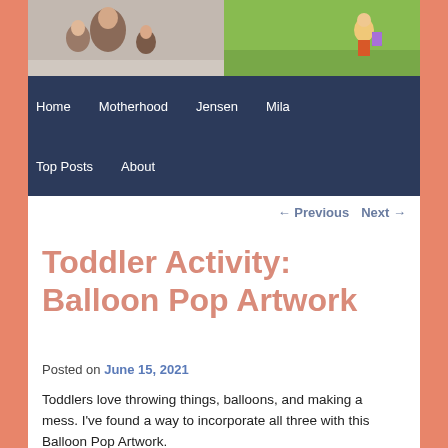[Figure (photo): Two photos side by side at top of page: left shows a woman with children, right shows a child outdoors on grass]
Home   Motherhood   Jensen   Mila   Top Posts   About
← Previous   Next →
Toddler Activity: Balloon Pop Artwork
Posted on June 15, 2021
Toddlers love throwing things, balloons, and making a mess. I've found a way to incorporate all three with this Balloon Pop Artwork.
For Mila's third party birthday in April, (I still haven't wrote